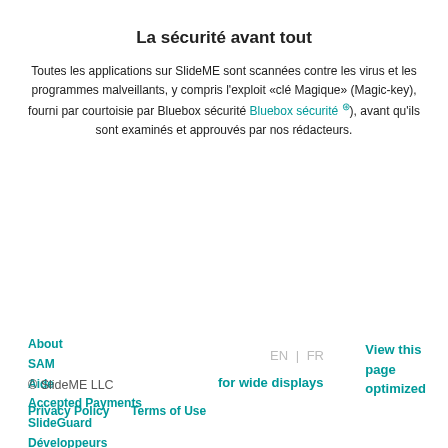La sécurité avant tout
Toutes les applications sur SlideME sont scannées contre les virus et les programmes malveillants, y compris l'exploit «clé Magique» (Magic-key), fourni par courtoisie par Bluebox sécurité Bluebox sécurité ⓛ), avant qu'ils sont examinés et approuvés par nos rédacteurs.
About
SAM
Aide
Accepted Payments
SlideGuard
Développeurs
SlideME MasterCard
Media
Politique de Confidentialité
Termes Et Conditions
Contact
EN | FR
for wide displays
View this page optimized
© SlideME LLC
Privacy Policy    Terms of Use